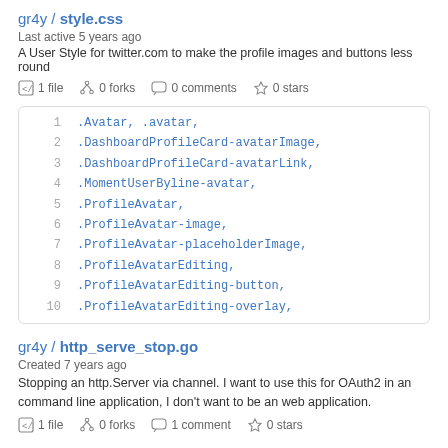gr4y / style.css
Last active 5 years ago
A User Style for twitter.com to make the profile images and buttons less round
◻ 1 file   ⑂ 0 forks   💬 0 comments   ☆ 0 stars
[Figure (screenshot): Code block showing CSS selectors: .Avatar, .avatar, .DashboardProfileCard-avatarImage, .DashboardProfileCard-avatarLink, .MomentUserByline-avatar, .ProfileAvatar, .ProfileAvatar-image, .ProfileAvatar-placeholderImage, .ProfileAvatarEditing, .ProfileAvatarEditing-button, .ProfileAvatarEditing-overlay,]
gr4y / http_serve_stop.go
Created 7 years ago
Stopping an http.Server via channel. I want to use this for OAuth2 in an command line application, I don't want to be an web application.
◻ 1 file   ⑂ 0 forks   💬 1 comment   ☆ 0 stars